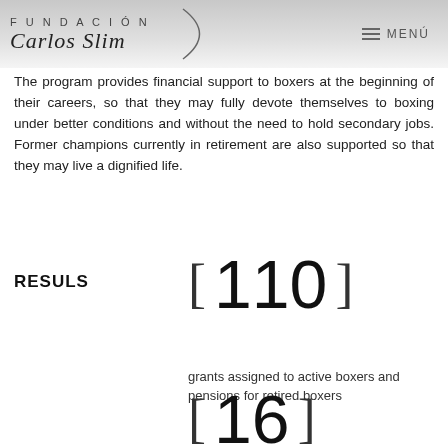FUNDACIÓN Carlos Slim — MENÚ
The program provides financial support to boxers at the beginning of their careers, so that they may fully devote themselves to boxing under better conditions and without the need to hold secondary jobs. Former champions currently in retirement are also supported so that they may live a dignified life.
RESULS
[Figure (infographic): Large bracketed number: [ 110 ]]
grants assigned to active boxers and pensions for retired boxers
[Figure (infographic): Large bracketed number: [ 16 ]]